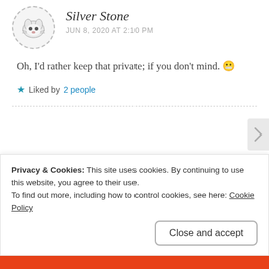Silver Stone
JUN 8, 2020 AT 2:10 PM
Oh, I'd rather keep that private; if you don't mind. 😬
★ Liked by 2 people
The Bold Girl
JUN 8, 2020 AT 2:22 PM
Privacy & Cookies: This site uses cookies. By continuing to use this website, you agree to their use. To find out more, including how to control cookies, see here: Cookie Policy
Close and accept